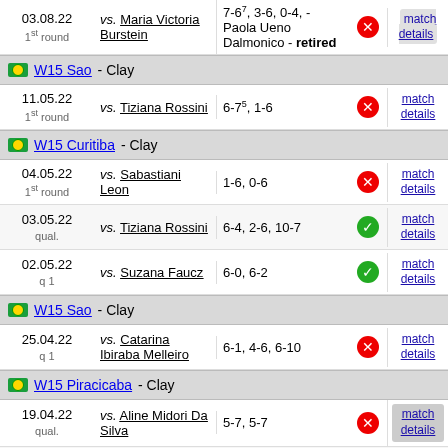| Date/Round | Opponent | Score | Result | Link |
| --- | --- | --- | --- | --- |
| 03.08.22 1st round | vs. Maria Victoria Burstein | 7-67, 3-6, 0-4, - Paola Ueno Dalmonico - retired | loss | match details |
| 11.05.22 1st round | vs. Tiziana Rossini | 6-75, 1-6 | loss | match details |
| 04.05.22 1st round | vs. Sabastiani Leon | 1-6, 0-6 | loss | match details |
| 03.05.22 qual. | vs. Tiziana Rossini | 6-4, 2-6, 10-7 | win | match details |
| 02.05.22 q 1 | vs. Suzana Faucz | 6-0, 6-2 | win | match details |
| 25.04.22 q 1 | vs. Catarina Ibiraba Melleiro | 6-1, 4-6, 6-10 | loss | match details |
| 19.04.22 qual. | vs. Aline Midori Da Silva | 5-7, 5-7 | loss | match details |
| 18.04.22 | vs. Maria Luisa Oliveira | 6-1, 6-4 | win | match |
W15 Sao - Clay
W15 Curitiba - Clay
W15 Sao - Clay
W15 Piracicaba - Clay